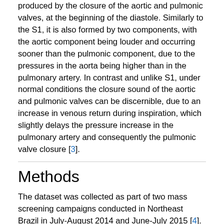produced by the closure of the aortic and pulmonic valves, at the beginning of the diastole. Similarly to the S1, it is also formed by two components, with the aortic component being louder and occurring sooner than the pulmonic component, due to the pressures in the aorta being higher than in the pulmonary artery. In contrast and unlike S1, under normal conditions the closure sound of the aortic and pulmonic valves can be discernible, due to an increase in venous return during inspiration, which slightly delays the pressure increase in the pulmonary artery and consequently the pulmonic valve closure [3].
Methods
The dataset was collected as part of two mass screening campaigns conducted in Northeast Brazil in July-August 2014 and June-July 2015 [4]. The data collection was approved by the 5192-Complexo Hospitalar HUOC/PROCAPE institutional review board, under the